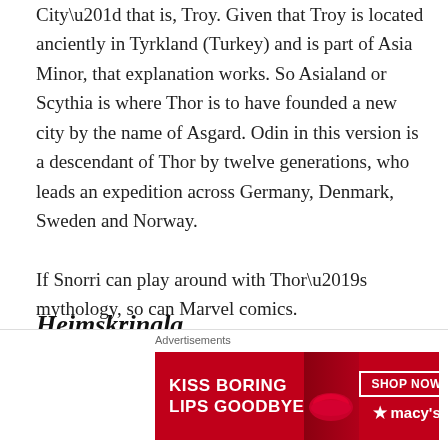City” that is, Troy. Given that Troy is located anciently in Tyrkland (Turkey) and is part of Asia Minor, that explanation works. So Asialand or Scythia is where Thor is to have founded a new city by the name of Asgard. Odin in this version is a descendant of Thor by twelve generations, who leads an expedition across Germany, Denmark, Sweden and Norway.

If Snorri can play around with Thor’s mythology, so can Marvel comics.
Heimskringla
This is another of Snorri Sturluson’s books, written in the
[Figure (other): Advertisement banner for Macy's lip product: 'KISS BORING LIPS GOODBYE' with SHOP NOW button and Macy's star logo on red background]